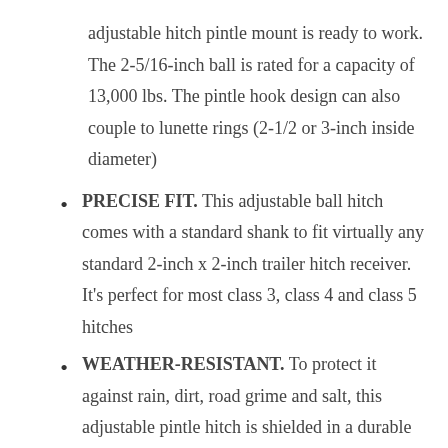adjustable hitch pintle mount is ready to work. The 2-5/16-inch ball is rated for a capacity of 13,000 lbs. The pintle hook design can also couple to lunette rings (2-1/2 or 3-inch inside diameter)
PRECISE FIT. This adjustable ball hitch comes with a standard shank to fit virtually any standard 2-inch x 2-inch trailer hitch receiver. It’s perfect for most class 3, class 4 and class 5 hitches
WEATHER-RESISTANT. To protect it against rain, dirt, road grime and salt, this adjustable pintle hitch is shielded in a durable carbide black powder coat finish, and the hitch ball is protected with a corrosion-resistant zinc plating